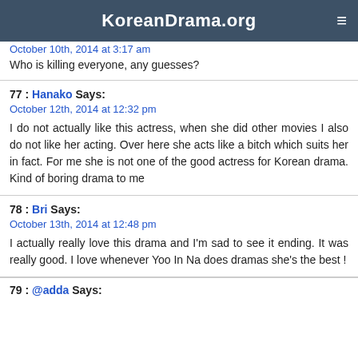KoreanDrama.org
October 10th, 2014 at 3:17 am
Who is killing everyone, any guesses?
77 : Hanako Says:
October 12th, 2014 at 12:32 pm

I do not actually like this actress, when she did other movies I also do not like her acting. Over here she acts like a bitch which suits her in fact. For me she is not one of the good actress for Korean drama. Kind of boring drama to me
78 : Bri Says:
October 13th, 2014 at 12:48 pm

I actually really love this drama and I'm sad to see it ending. It was really good. I love whenever Yoo In Na does dramas she's the best !
79 : @adda Says: